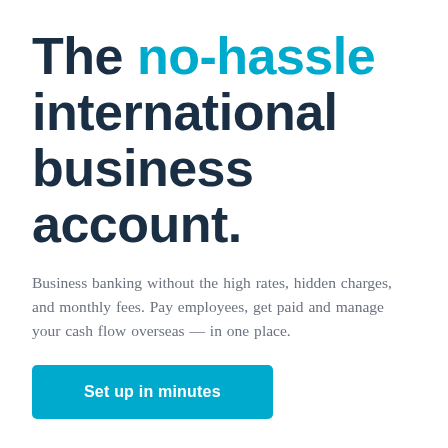The no-hassle international business account.
Business banking without the high rates, hidden charges, and monthly fees. Pay employees, get paid and manage your cash flow overseas — in one place.
[Figure (other): Cyan/blue rounded rectangle button labeled 'Set up in minutes']
[Figure (illustration): Blue padlock icon representing money safeguarding]
[Figure (illustration): Blue document with magnifying glass icon representing authorised status]
We safeguard your money
We're an authorised